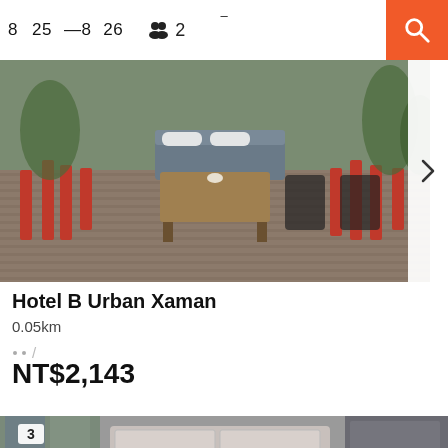8  25  —8  26  👥 2
[Figure (photo): Hotel rooftop terrace with wooden deck, red folding chairs, a live-edge wooden coffee table, gray outdoor sofas, and potted plants]
Hotel B Urban Xaman
0.05km
NT$2,143
[Figure (photo): Hotel room interior with gray upholstered headboard, a window with curtains, partial mirror view, dark and neutral tones]